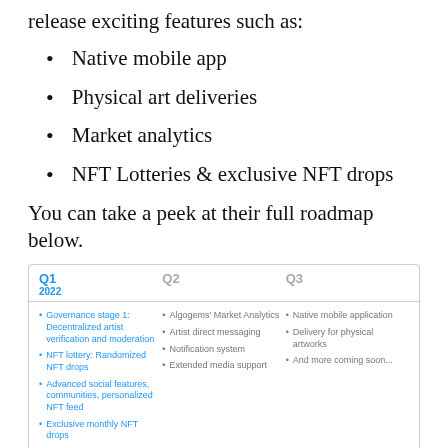release exciting features such as:
Native mobile app
Physical art deliveries
Market analytics
NFT Lotteries & exclusive NFT drops
You can take a peek at their full roadmap below.
[Figure (infographic): Roadmap table showing Q1 2022, Q2, Q3 columns with bullet points of features. Q1 (blue/active): Governance stage 1: Decentralized artist verification and moderation; NFT lottery: Randomized NFT drops; Advanced social features, communities, personalized NFT feed; Exclusive monthly NFT drops; Market explorer. Q2: Algogems' Market Analytics; Artist direct messaging; Notification system; Extended media support. Q3: Native mobile application; Delivery for physical artworks; And more coming soon...]